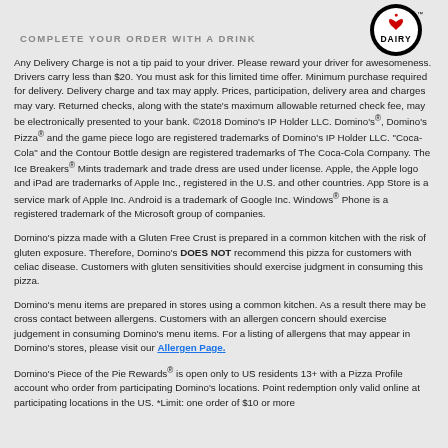COMPLETE YOUR ORDER WITH A DRINK
[Figure (logo): Dairy logo — circular black and white logo with red heart and 'DAIRY' text and TM mark]
Any Delivery Charge is not a tip paid to your driver. Please reward your driver for awesomeness. Drivers carry less than $20. You must ask for this limited time offer. Minimum purchase required for delivery. Delivery charge and tax may apply. Prices, participation, delivery area and charges may vary. Returned checks, along with the state's maximum allowable returned check fee, may be electronically presented to your bank. ©2018 Domino's IP Holder LLC. Domino's®, Domino's Pizza® and the game piece logo are registered trademarks of Domino's IP Holder LLC. "Coca-Cola" and the Contour Bottle design are registered trademarks of The Coca-Cola Company. The Ice Breakers® Mints trademark and trade dress are used under license. Apple, the Apple logo and iPad are trademarks of Apple Inc., registered in the U.S. and other countries. App Store is a service mark of Apple Inc. Android is a trademark of Google Inc. Windows® Phone is a registered trademark of the Microsoft group of companies.
Domino's pizza made with a Gluten Free Crust is prepared in a common kitchen with the risk of gluten exposure. Therefore, Domino's DOES NOT recommend this pizza for customers with celiac disease. Customers with gluten sensitivities should exercise judgment in consuming this pizza.
Domino's menu items are prepared in stores using a common kitchen. As a result there may be cross contact between allergens. Customers with an allergen concern should exercise judgement in consuming Domino's menu items. For a listing of allergens that may appear in Domino's stores, please visit our Allergen Page.
Domino's Piece of the Pie Rewards® is open only to US residents 13+ with a Pizza Profile account who order from participating Domino's locations. Point redemption only valid online at participating locations in the US. *Limit: one order of $10 or more